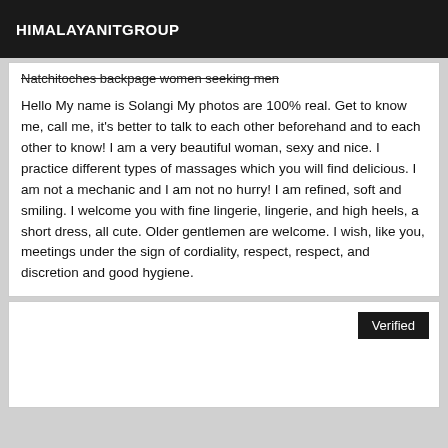HIMALAYANITGROUP
Natchitoches backpage women seeking men
Hello My name is Solangi My photos are 100% real. Get to know me, call me, it's better to talk to each other beforehand and to each other to know! I am a very beautiful woman, sexy and nice. I practice different types of massages which you will find delicious. I am not a mechanic and I am not no hurry! I am refined, soft and smiling. I welcome you with fine lingerie, lingerie, and high heels, a short dress, all cute. Older gentlemen are welcome. I wish, like you, meetings under the sign of cordiality, respect, respect, and discretion and good hygiene.
Verified